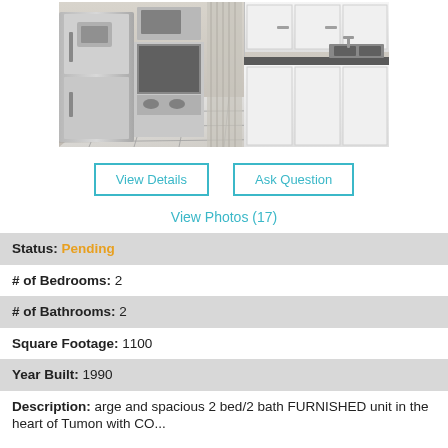[Figure (photo): Kitchen interior photo showing stainless steel refrigerator, stove, microwave, white cabinets, dark countertops, and white tile floor with gray grout lines.]
View Details
Ask Question
View Photos (17)
Status: Pending
# of Bedrooms: 2
# of Bathrooms: 2
Square Footage: 1100
Year Built: 1990
Description: arge and spacious 2 bed/2 bath FURNISHED unit in the heart of Tumon with CO...